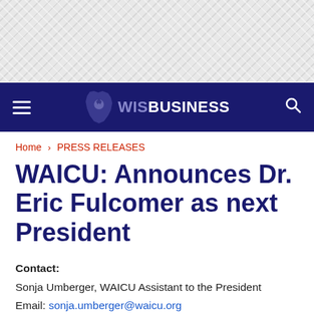[Figure (other): Decorative geometric/diamond pattern header background in light gray]
WisBusiness — navigation bar with hamburger menu, WisBusiness logo, and search icon
Home › PRESS RELEASES
WAICU: Announces Dr. Eric Fulcomer as next President
Contact:
Sonja Umberger, WAICU Assistant to the President
Email: sonja.umberger@waicu.org
122 W. Washington Ave., Suite 700